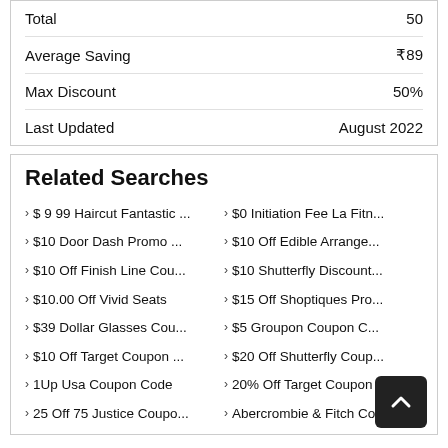|  |  |
| --- | --- |
| Total | 50 |
| Average Saving | ₹89 |
| Max Discount | 50% |
| Last Updated | August 2022 |
Related Searches
$ 9 99 Haircut Fantastic ...
$0 Initiation Fee La Fitn...
$10 Door Dash Promo ...
$10 Off Edible Arrange...
$10 Off Finish Line Cou...
$10 Shutterfly Discount...
$10.00 Off Vivid Seats
$15 Off Shoptiques Pro...
$39 Dollar Glasses Cou...
$5 Groupon Coupon C...
$10 Off Target Coupon ...
$20 Off Shutterfly Coup...
1Up Usa Coupon Code
20% Off Target Coupon ...
25 Off 75 Justice Coupo...
Abercrombie & Fitch Co...